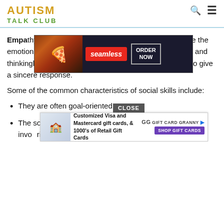AUTISM TALK CLUB
[Figure (screenshot): Seamless food delivery advertisement banner with pizza image, red Seamless logo, and ORDER NOW button]
Empathy consists of three key components: to recognize the emotions of others. Understanding what they are feeling and thinkingknowing and feeling the same way that they do to give a sincere response.
Some of the common characteristics of social skills include:
They are often goal-oriented.
The social skills used depend on the situation, whether it involves a particular rio tal
[Figure (screenshot): Gift Card Granny advertisement: Customized Visa and Mastercard gift cards, & 1000's of Retail Gift Cards. SHOP GIFT CARDS button. CLOSE button overlay.]